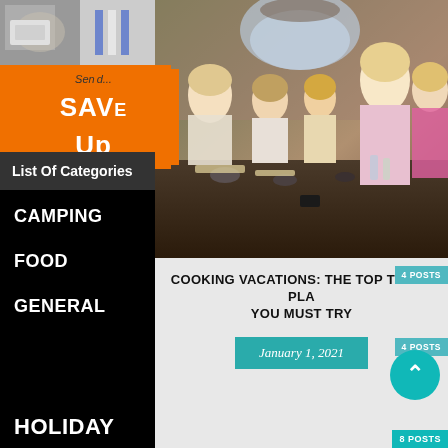[Figure (photo): Cooking class photo showing group of people making pasta at a long table in a rustic kitchen setting]
[Figure (screenshot): Orange advertisement banner with SAV and Up text visible]
List Of Categories
CAMPING
FOOD
GENERAL
HOLIDAY
COOKING VACATIONS: THE TOP THREE PLA... YOU MUST TRY
January 1, 2021
4 POSTS
4 POSTS
8 POSTS